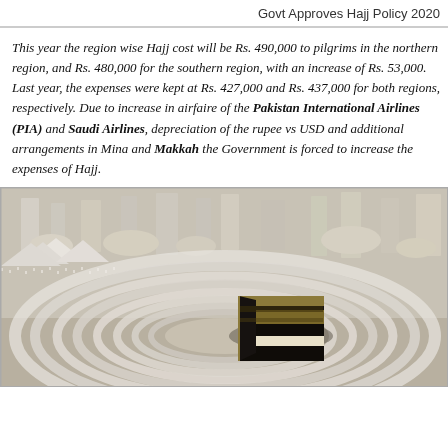Govt Approves Hajj Policy 2020
This year the region wise Hajj cost will be Rs. 490,000 to pilgrims in the northern region, and Rs. 480,000 for the southern region, with an increase of Rs. 53,000. Last year, the expenses were kept at Rs. 427,000 and Rs. 437,000 for both regions, respectively. Due to increase in airfaire of the Pakistan International Airlines (PIA) and Saudi Airlines, depreciation of the rupee vs USD and additional arrangements in Mina and Makkah the Government is forced to increase the expenses of Hajj.
[Figure (photo): Aerial view of the Kaaba at Masjid al-Haram in Makkah surrounded by thousands of pilgrims performing Tawaf in concentric circles]